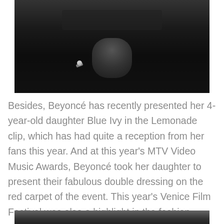[Figure (photo): Dark photograph showing a person dressed in black clothing, partially visible from torso down, with dark background and equipment visible]
Besides, Beyoncé has recently presented her 4-year-old daughter Blue Ivy in the Lemonade clip, which has had quite a reception from her fans this year. And at this year's MTV Video Music Awards, Beyoncé took her daughter to present their fabulous double dressing on the red carpet of the event. This year's Venice Film Festival was also a highlight in the fashion world this month. But the highlight of the show was Italian model Bianca Balti, who became a true inspiration of the event and showed off the best outfit of the event on the red carpet.
[Figure (photo): Partial view of another photograph at the bottom of the page, dark tones]